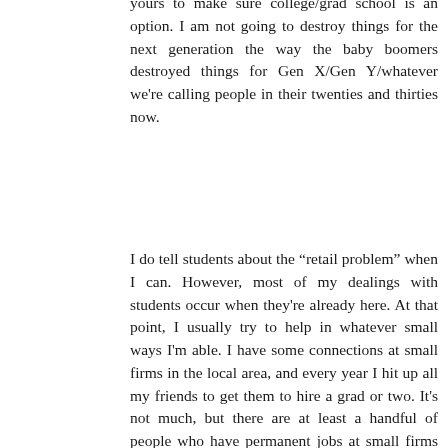yours to make sure college/grad school is an option. I am not going to destroy things for the next generation the way the baby boomers destroyed things for Gen X/Gen Y/whatever we're calling people in their twenties and thirties now.
I do tell students about the "retail problem" when I can. However, most of my dealings with students occur when they're already here. At that point, I usually try to help in whatever small ways I'm able. I have some connections at small firms in the local area, and every year I hit up all my friends to get them to hire a grad or two. It's not much, but there are at least a handful of people who have permanent jobs at small firms that enable them to service their debt.
As for reforming the system from within, I think you have to understand the difference between a tenured professor and a non-tenure track professor. At faculty meetings, no one wants to hear from us - if the tenured folks could take the vote away from us and still count us as full-time faculty for ABA/US News purposes, they would do so in a heartbeat. Even commenting on this blog scares the hell out of me - if the powers that be trace these comments back to me, I'd